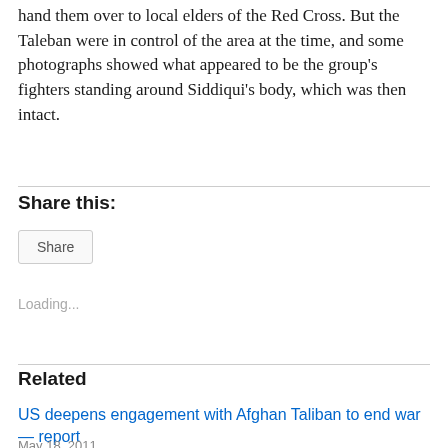hand them over to local elders of the Red Cross. But the Taleban were in control of the area at the time, and some photographs showed what appeared to be the group's fighters standing around Siddiqui's body, which was then intact.
Share this:
Share
Loading...
Related
US deepens engagement with Afghan Taliban to end war — report
May 18, 2011